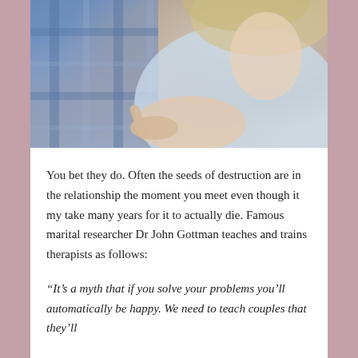[Figure (photo): A woman with blonde hair wearing a light blue cardigan appears to be gesturing or pointing with her hand. A man in a blue plaid shirt is partially visible in the background. The image suggests a couple in conversation or conflict.]
You bet they do. Often the seeds of destruction are in the relationship the moment you meet even though it my take many years for it to actually die. Famous marital researcher Dr John Gottman teaches and trains therapists as follows:
“It’s a myth that if you solve your problems you’ll automatically be happy. We need to teach couples that they’ll